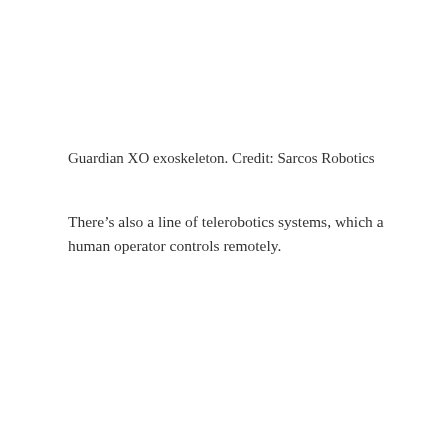Guardian XO exoskeleton. Credit: Sarcos Robotics
There’s also a line of telerobotics systems, which a human operator controls remotely.